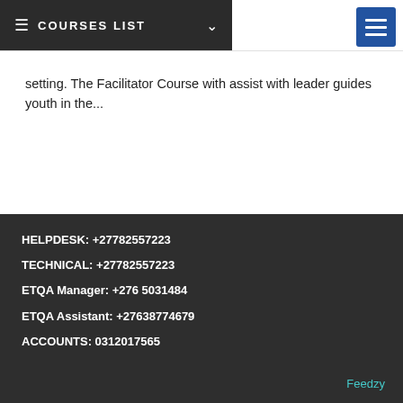COURSES LIST
setting. The Facilitator Course with assist with leader guides youth in the...
HELPDESK: +27782557223
TECHNICAL: +27782557223
ETQA Manager: +276 5031484
ETQA Assistant: +27638774679
ACCOUNTS: 0312017565